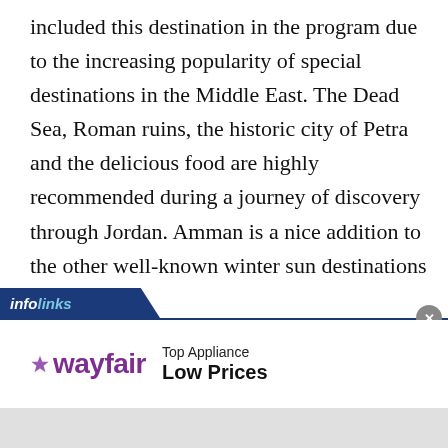included this destination in the program due to the increasing popularity of special destinations in the Middle East. The Dead Sea, Roman ruins, the historic city of Petra and the delicious food are highly recommended during a journey of discovery through Jordan. Amman is a nice addition to the other well-known winter sun destinations of Transavia.
[Figure (other): Infolinks advertisement banner featuring Wayfair logo with text 'Top Appliance Low Prices']